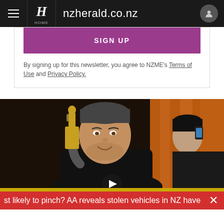nzherald.co.nz
SIGN UP
By signing up for this newsletter, you agree to NZME's Terms of Use and Privacy Policy.
[Figure (photo): Man holding an Oscar award statue, smiling, with another person in the background taking a photo on a phone. Orange curtains visible.]
st likely to pinch? AA reveals stolen vehicles in NZ have inc